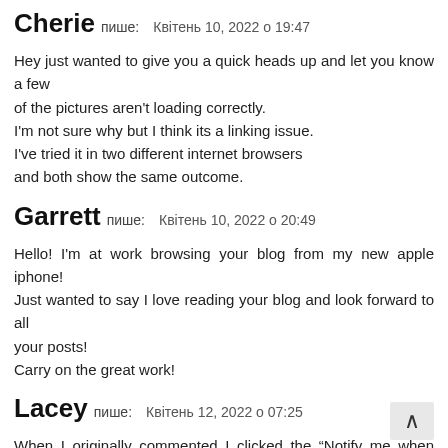Cherie пише: Квітень 10, 2022 о 19:47
Hey just wanted to give you a quick heads up and let you know a few of the pictures aren't loading correctly.
I'm not sure why but I think its a linking issue.
I've tried it in two different internet browsers
and both show the same outcome.
Garrett пише: Квітень 10, 2022 о 20:49
Hello! I'm at work browsing your blog from my new apple iphone!
Just wanted to say I love reading your blog and look forward to all your posts!
Carry on the great work!
Lacey пише: Квітень 12, 2022 о 07:25
When I originally commented I clicked the "Notify me when new comments are added" checkbox and now
each time a comment is added I get several e-mails with the same comment.
Is there any way you can remove people from that service?